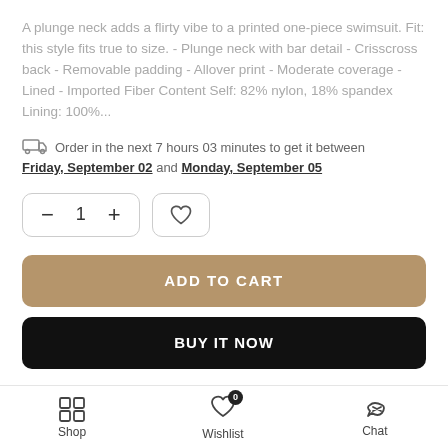A plunge neck adds a flirty vibe to a printed one-piece swimsuit. Fit: this style fits true to size. - Plunge neck with bar detail - Crisscross back - Removable padding - Allover print - Moderate coverage - Lined - Imported Fiber Content Self: 82% nylon, 18% spandex Lining: 100%...
Order in the next 7 hours 03 minutes to get it between Friday, September 02 and Monday, September 05
ADD TO CART
BUY IT NOW
Shop   Wishlist   Chat